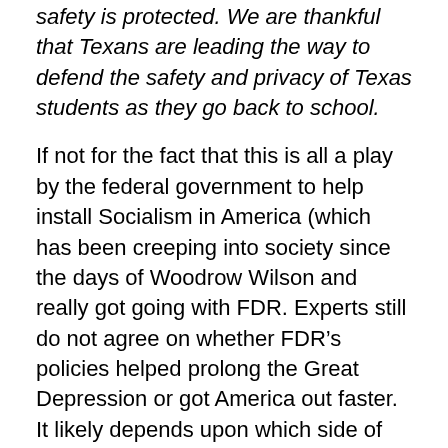safety is protected. We are thankful that Texans are leading the way to defend the safety and privacy of Texas students as they go back to school.
If not for the fact that this is all a play by the federal government to help install Socialism in America (which has been creeping into society since the days of Woodrow Wilson and really got going with FDR. Experts still do not agree on whether FDR’s policies helped prolong the Great Depression or got America out faster. It likely depends upon which side of the aisle the experts fall on.
But now, with so many things changing since President Obama became president, society appears to be ready to make another major jump. I won’t bore you with a list of the things that have changed because of Obama’s policies, but in truth, society has changed and changed drastically. I didn’t experience that with his after created...